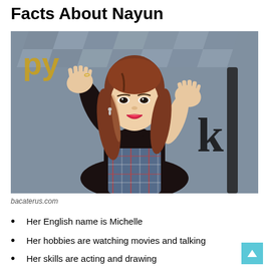Facts About Nayun
[Figure (photo): Young woman with long auburn hair, wearing a black turtleneck and plaid dress, waving both hands and smiling at a indoor event backdrop with gold balloon letters.]
bacaterus.com
Her English name is Michelle
Her hobbies are watching movies and talking
Her skills are acting and drawing